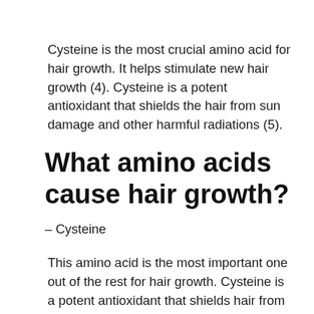Cysteine is the most crucial amino acid for hair growth. It helps stimulate new hair growth (4). Cysteine is a potent antioxidant that shields the hair from sun damage and other harmful radiations (5).
What amino acids cause hair growth?
– Cysteine
This amino acid is the most important one out of the rest for hair growth. Cysteine is a potent antioxidant that shields hair from too much sun damage and other radiations that can deteriorate the health of hair.